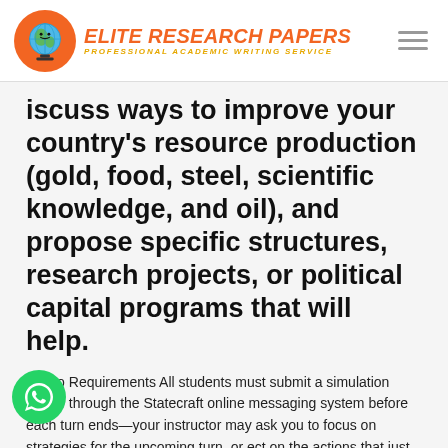[Figure (logo): Elite Research Papers logo with globe icon on orange circle, orange italic text reading ELITE RESEARCH PAPERS, subtitle PROFESSIONAL ACADEMIC WRITING SERVICE in gold italic]
iscuss ways to improve your country's resource production (gold, food, steel, scientific knowledge, and oil), and propose specific structures, research projects, or political capital programs that will help.
Memo Requirements All students must submit a simulation memo through the Statecraft online messaging system before each turn ends—your instructor may ask you to focus on strategies for the upcoming turn, or ect on the actions that just took place. These memos st be at least 300 words in length. Memos that are posted late or are too short will NOT be counted. Your
[Figure (logo): Green WhatsApp button icon in bottom left corner]